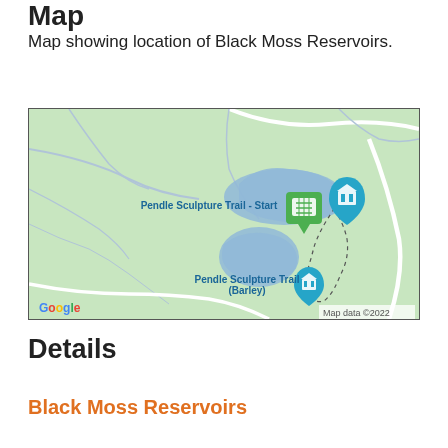Map
Map showing location of Black Moss Reservoirs.
[Figure (map): Google Map showing location of Black Moss Reservoirs near Pendle Sculpture Trail. Map shows two blue reservoir bodies, green terrain, white roads, and map markers for 'Pendle Sculpture Trail - Start', 'Pendle Sculpture Trail (Barley)', with a Google logo and 'Map data ©2022' attribution.]
Details
Black Moss Reservoirs